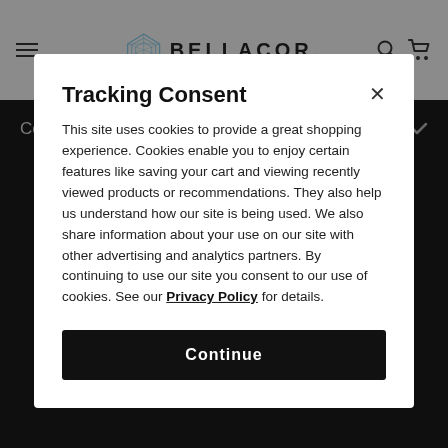BELLACOR.
Company
Tracking Consent
This site uses cookies to provide a great shopping experience. Cookies enable you to enjoy certain features like saving your cart and viewing recently viewed products or recommendations. They also help us understand how our site is being used. We also share information about your use on our site with other advertising and analytics partners. By continuing to use our site you consent to our use of cookies. See our Privacy Policy for details.
Continue